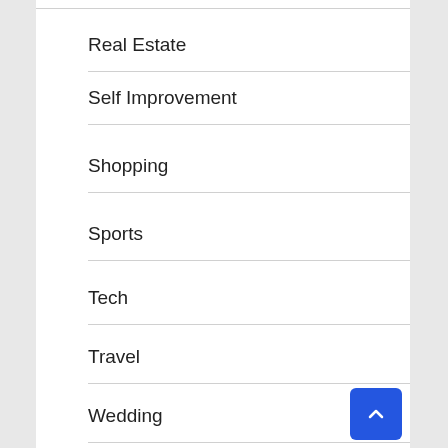Real Estate
Self Improvement
Shopping
Sports
Tech
Travel
Wedding
Workout